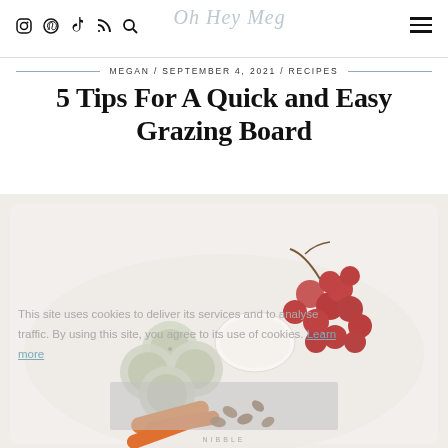Oh Hey Meg — navigation icons: Instagram, Pinterest, TikTok, RSS, Search, Hamburger menu
MEGAN / SEPTEMBER 4, 2021 / RECIPES
5 Tips For A Quick and Easy Grazing Board
This site uses cookies to deliver its services and to analyse traffic. By using this site, you agree to its use of cookies. Learn more
[Figure (photo): Overhead photo of a grazing board with sliced cucumbers, grapes, baby carrots, almonds, and other snacks on a white board labeled NIBBLE]